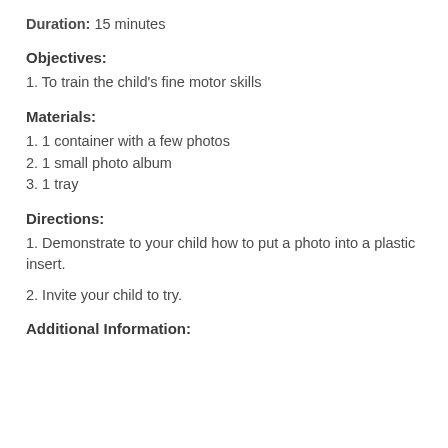Duration: 15 minutes
Objectives:
1. To train the child's fine motor skills
Materials:
1. 1 container with a few photos
2. 1 small photo album
3. 1 tray
Directions:
1. Demonstrate to your child how to put a photo into a plastic insert.
2. Invite your child to try.
Additional Information: